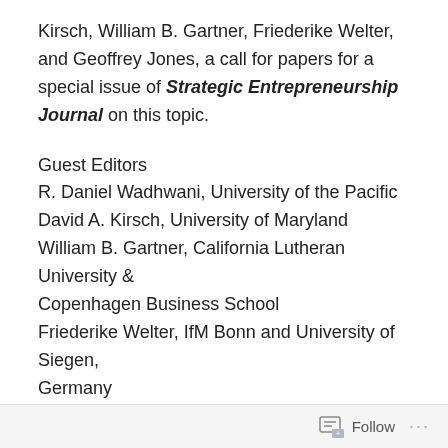Kirsch, William B. Gartner, Friederike Welter, and Geoffrey Jones, a call for papers for a special issue of Strategic Entrepreneurship Journal on this topic.
Guest Editors
R. Daniel Wadhwani, University of the Pacific
David A. Kirsch, University of Maryland
William B. Gartner, California Lutheran University & Copenhagen Business School
Friederike Welter, IfM Bonn and University of Siegen, Germany
Geoffrey Jones, Harvard Business School
In recent years, scholars have grown increasingly interested in the promise of historical approaches to entrepreneurship and history with a broader and